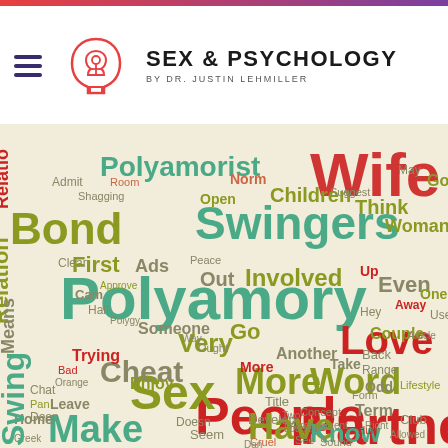[Figure (logo): Sex & Psychology logo with head/brain icon and Dr. Justin Lehmiller branding]
[Figure (infographic): Word cloud featuring polyamory-related terms including: Wife, Polyamorist, Bond, Swingers, Children, Norm, Think, Woman, Relation, First, Ads, Out, Involved, Even, Polyamory, Someone, Very, Another, Go, Couple, Means, Trying, Sex, More, People, Love, Word, Partner, Cheat, Have, Make, Know, Term, Lifestyle, Club, Home, Leave, Enjoy, Make, Title, Develop, Concept, Arrangement, Take, Back, Odd, Range and many more words in various sizes and colors (teal, red, olive/yellow-green, gray)]